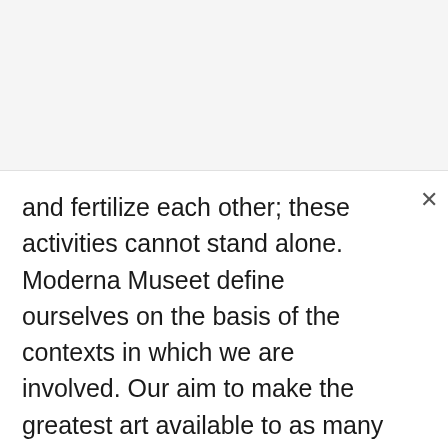and fertilize each other; these activities cannot stand alone. Moderna Museet define ourselves on the basis of the contexts in which we are involved. Our aim to make the greatest art available to as many people as possible must rest on sustainable practices that take into account environmental and social impacts. Moderna Museet must be driven by the courage to experiment, dare to push boundaries and take new paths in the way we manage our tasks.